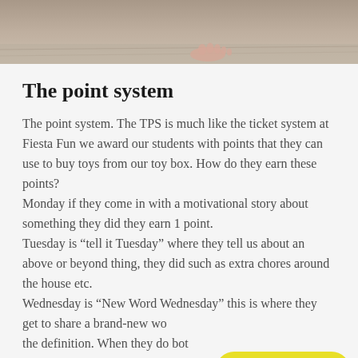[Figure (photo): Partial photo showing feet/toes at the bottom of the frame against a muted background, cropped at the top of the page]
The point system
The point system. The TPS is much like the ticket system at Fiesta Fun we award our students with points that they can use to buy toys from our toy box. How do they earn these points?
Monday if they come in with a motivational story about something they did they earn 1 point.
Tuesday is “tell it Tuesday” where they tell us about an above or beyond thing, they did such as extra chores around the house etc.
Wednesday is “New Word Wednesday” this is where they get to share a brand-new wo the definition. When they do bot Thursday is “Throwdown Thursday” where, with the